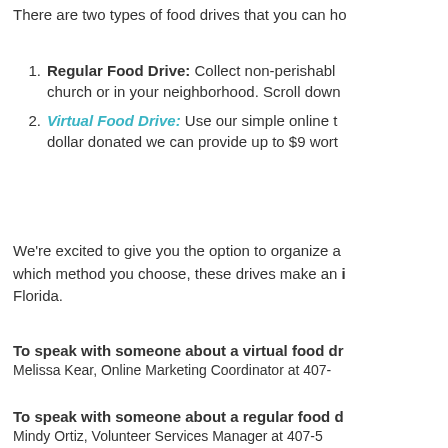There are two types of food drives that you can ho
Regular Food Drive: Collect non-perishable items at your church or in your neighborhood. Scroll down
Virtual Food Drive: Use our simple online t... dollar donated we can provide up to $9 wort
We're excited to give you the option to organize a ... which method you choose, these drives make an i... Florida.
To speak with someone about a virtual food dr
Melissa Kear, Online Marketing Coordinator at 407-
To speak with someone about a regular food d
Mindy Ortiz, Volunteer Services Manager at 407-5